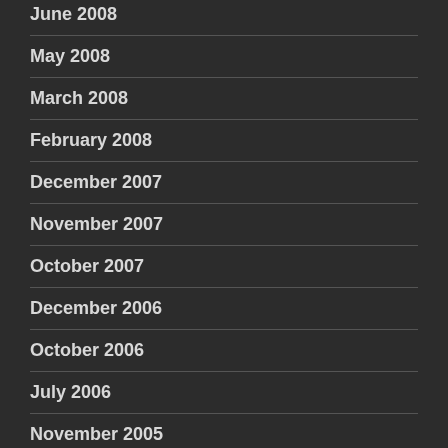June 2008
May 2008
March 2008
February 2008
December 2007
November 2007
October 2007
December 2006
October 2006
July 2006
November 2005